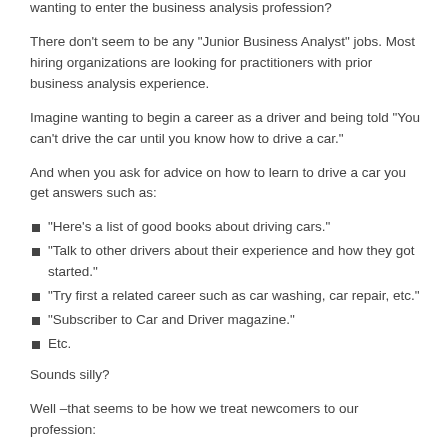wanting to enter the business analysis profession?
There don’t seem to be any “Junior Business Analyst” jobs. Most hiring organizations are looking for practitioners with prior business analysis experience.
Imagine wanting to begin a career as a driver and being told “You can’t drive the car until you know how to drive a car.”
And when you ask for advice on how to learn to drive a car you get answers such as:
“Here’s a list of good books about driving cars.”
“Talk to other drivers about their experience and how they got started.”
“Try first a related career such as car washing, car repair, etc.”
“Subscriber to Car and Driver magazine.”
Etc.
Sounds silly?
Well –that seems to be how we treat newcomers to our profession: